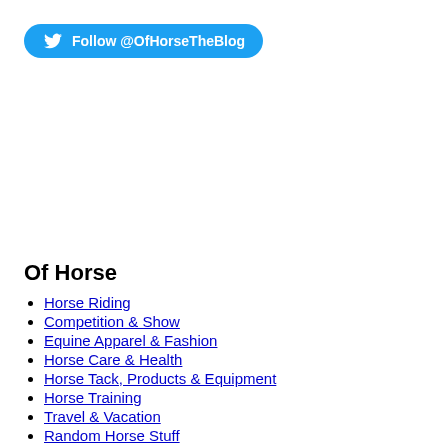[Figure (other): Twitter follow button with bird logo: Follow @OfHorseTheBlog]
Of Horse
Horse Riding
Competition & Show
Equine Apparel & Fashion
Horse Care & Health
Horse Tack, Products & Equipment
Horse Training
Travel & Vacation
Random Horse Stuff